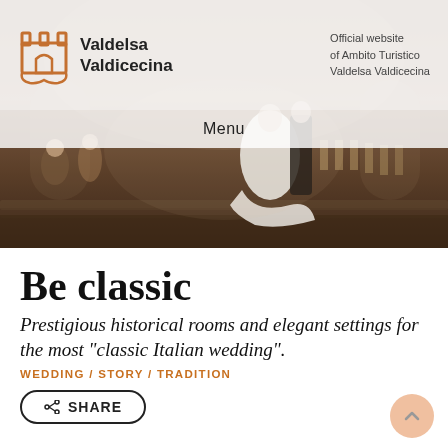[Figure (logo): Valdelsa Valdicecina castle-shaped orange logo icon with text 'Valdelsa Valdicecina' beside it]
Official website of Ambito Turistico Valdelsa Valdicecina
Menu
[Figure (photo): Wedding scene at a historic Italian stone venue: bride in white dress, groom in black suit on stone steps, guests and wooden chairs in background, warm earthy tones]
Be classic
Prestigious historical rooms and elegant settings for the most "classic Italian wedding".
WEDDING / STORY / TRADITION
SHARE